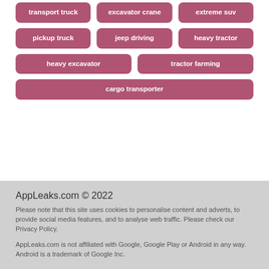transport truck
excavator crane
extreme suv
pickup truck
jeep driving
heavy tractor
heavy excavator
tractor farming
cargo transporter
AppLeaks.com © 2022
Please note that this site uses cookies to personalise content and adverts, to provide social media features, and to analyse web traffic. Please check our Privacy Policy.
AppLeaks.com is not affiliated with Google, Google Play or Android in any way. Android is a trademark of Google Inc.